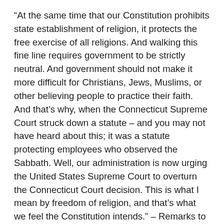“At the same time that our Constitution prohibits state establishment of religion, it protects the free exercise of all religions. And walking this fine line requires government to be strictly neutral. And government should not make it more difficult for Christians, Jews, Muslims, or other believing people to practice their faith. And that’s why, when the Connecticut Supreme Court struck down a statute – and you may not have heard about this; it was a statute protecting employees who observed the Sabbath. Well, our administration is now urging the United States Supreme Court to overturn the Connecticut Court decision. This is what I mean by freedom of religion, and that’s what we feel the Constitution intends.” – Remarks to Members of the Congregation of Temple Hillel and Jewish Community Leaders in Valley Stream, New York, 26 October 1984 (President RONALD WILSON REAGAN)
“I believe that the most essential element of our defense of freedom is our insistence on speaking out for the cause